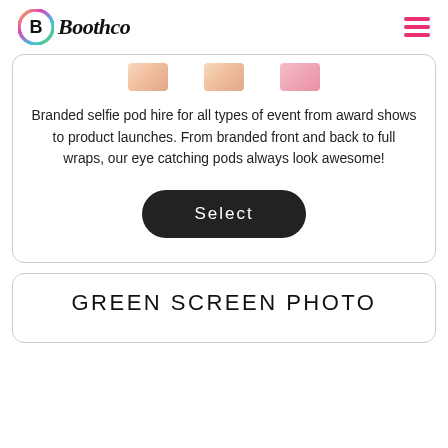Boothco
[Figure (logo): Boothco logo with colorful circular icon and italic bold wordmark]
[Figure (other): Partial images of selfie pod products at top of card]
Branded selfie pod hire for all types of event from award shows to product launches. From branded front and back to full wraps, our eye catching pods always look awesome!
Select
GREEN SCREEN PHOTO